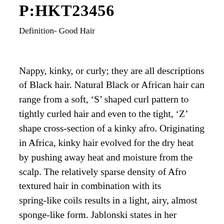P:HKT23456
Definition- Good Hair
Nappy, kinky, or curly; they are all descriptions of Black hair. Natural Black or African hair can range from a soft, ‘S’ shaped curl pattern to tightly curled hair and even to the tight, ‘Z’ shape cross-section of a kinky afro. Originating in Africa, kinky hair evolved for the dry heat by pushing away heat and moisture from the scalp. The relatively sparse density of Afro textured hair in combination with its spring-like coils results in a light, airy, almost sponge-like form. Jablonski states in her writing that it likely facilitates an increase in the circulation of cool air onto the scalp. This hair type should be appreciated as a biological advantage and not considered “bad hair”. A strong majority of Black people believe their natural hair is